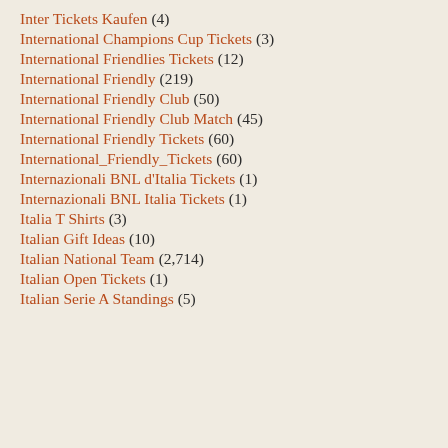Inter Tickets Kaufen (4)
International Champions Cup Tickets (3)
International Friendlies Tickets (12)
International Friendly (219)
International Friendly Club (50)
International Friendly Club Match (45)
International Friendly Tickets (60)
International_Friendly_Tickets (60)
Internazionali BNL d'Italia Tickets (1)
Internazionali BNL Italia Tickets (1)
Italia T Shirts (3)
Italian Gift Ideas (10)
Italian National Team (2,714)
Italian Open Tickets (1)
Italian Serie A Standings (5)